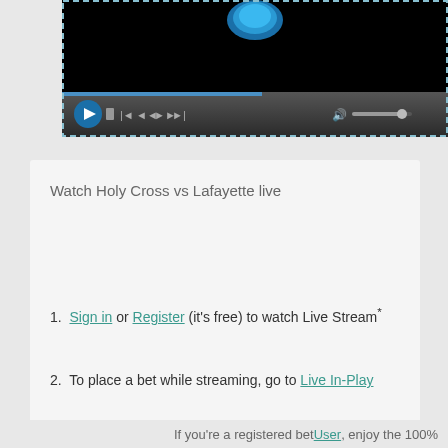[Figure (screenshot): Video player screenshot with black screen showing a blue logo/icon at top center, and dark media controls bar at bottom with play button, seek controls, and volume slider. A dashed blue border surrounds the player area.]
Watch Holy Cross vs Lafayette live
Sign in or Register (it's free) to watch Live Stream*
To place a bet while streaming, go to Live In-Play
Loading [MathJax]/extensions/jsMath2jax.js